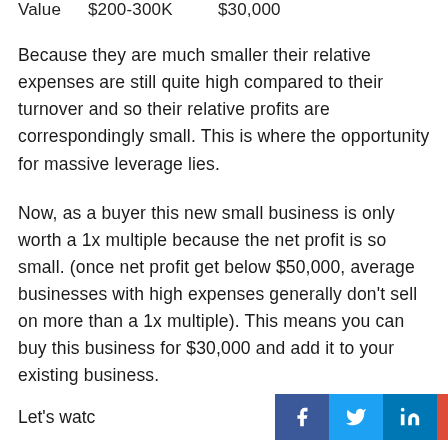| Value | $200-300K | $30,000 |
| --- | --- | --- |
Because they are much smaller their relative expenses are still quite high compared to their turnover and so their relative profits are correspondingly small. This is where the opportunity for massive leverage lies.
Now, as a buyer this new small business is only worth a 1x multiple because the net profit is so small. (once net profit get below $50,000, average businesses with high expenses generally don't sell on more than a 1x multiple). This means you can buy this business for $30,000 and add it to your existing business.
Let's watc
[Figure (infographic): Social sharing buttons bar: Facebook (dark blue, f), Twitter (light blue, bird), LinkedIn (blue, in), Google+ (red, G+), Pinterest (dark red, P)]